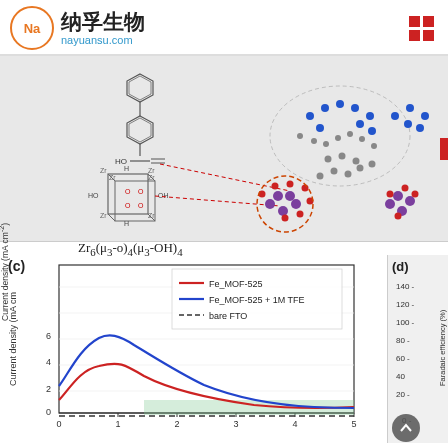[Figure (logo): 纳孚生物 (Nayuansu) logo with orange circle containing Na, Chinese characters, and URL nayuansu.com]
[Figure (illustration): MOF-525 crystal structure diagram showing Zr6 cluster building block with organic linkers, molecular structure of components including benzene rings and carboxylic acid groups, and 3D network visualization with purple, red, blue and gray atoms]
[Figure (line-chart): Panel (c) - Current density vs time]
[Figure (bar-chart): Partially visible panel (d) showing Faradaic efficiency y-axis from 0 to 140%, cropped on right edge]